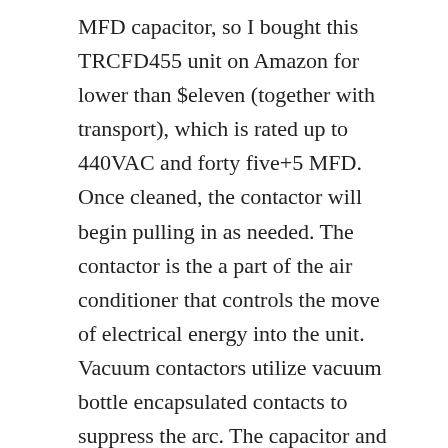MFD capacitor, so I bought this TRCFD455 unit on Amazon for lower than $eleven (together with transport), which is rated up to 440VAC and forty five+5 MFD. Once cleaned, the contactor will begin pulling in as needed. The contactor is the a part of the air conditioner that controls the move of electrical energy into the unit. Vacuum contactors utilize vacuum bottle encapsulated contacts to suppress the arc. The capacitor and contactor work hand in hand to keep you air conditioner working all summer lengthy. While light switches need you to bodily flip the swap and pressure switches use air to function, your contactor is triggered by a solenoid pulling on a small plunger (the button). Before removing the contactor, shut off energy to the air conditioner. From repairs to installations, contact us right this moment for all of your AC wants in South Florida. This report focuses on Basic Objective AC